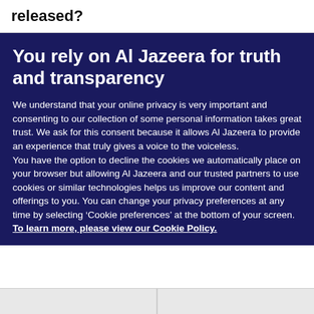released?
You rely on Al Jazeera for truth and transparency
We understand that your online privacy is very important and consenting to our collection of some personal information takes great trust. We ask for this consent because it allows Al Jazeera to provide an experience that truly gives a voice to the voiceless.
You have the option to decline the cookies we automatically place on your browser but allowing Al Jazeera and our trusted partners to use cookies or similar technologies helps us improve our content and offerings to you. You can change your privacy preferences at any time by selecting ‘Cookie preferences’ at the bottom of your screen. To learn more, please view our Cookie Policy.